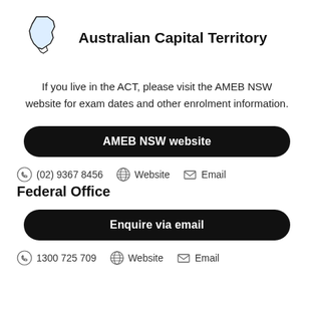[Figure (map): Outline map of Australian Capital Territory (ACT), light blue fill with dark border]
Australian Capital Territory
If you live in the ACT, please visit the AMEB NSW website for exam dates and other enrolment information.
AMEB NSW website
(02) 9367 8456   Website   Email
Federal Office
Enquire via email
1300 725 709   Website   Email